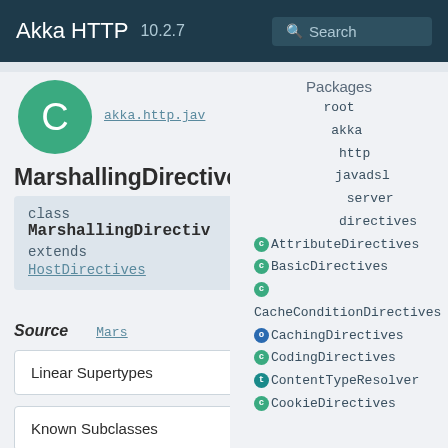Akka HTTP 10.2.7  Search
[Figure (logo): Green circle with white letter C]
akka.http.jav
MarshallingDirectives
class MarshallingDirectiv extends HostDirectives
Source  Mars
Packages
root
akka
http
javadsl
server
directives
AttributeDirectives
BasicDirectives
CacheConditionDirectives
CachingDirectives
CodingDirectives
ContentTypeResolver
CookieDirectives
Linear Supertypes
Known Subclasses